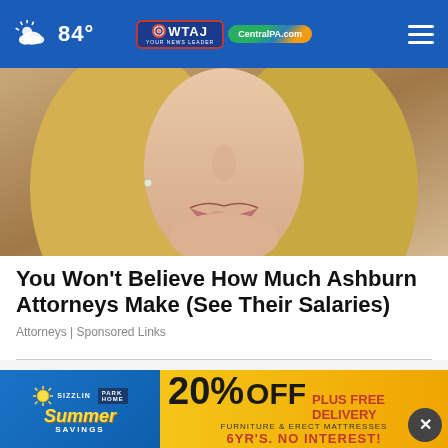84° WWTAJ CentralPA.com
[Figure (photo): Close-up photo of a blonde woman's face from nose to chin, soft lighting]
You Won't Believe How Much Ashburn Attorneys Make (See Their Salaries)
Attorneys | Sponsored Links
WHAT DO YOU THINK?
Do you think Dwayne 'The Rock' Johnson will or will not return
Definitely will
[Figure (infographic): Advertisement banner: Sizzlin Summer Savings - Park Home - 20% OFF plus free delivery furniture and erect mattresses, 6 years no interest]